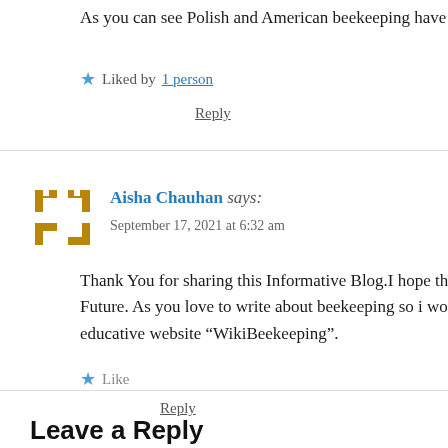As you can see Polish and American beekeeping have t
Liked by 1 person
Reply
Aisha Chauhan says:
September 17, 2021 at 6:32 am
Thank You for sharing this Informative Blog.I hope tha Future. As you love to write about beekeeping so i wou educative website “WikiBeekeeping”.
Like
Reply
Leave a Reply